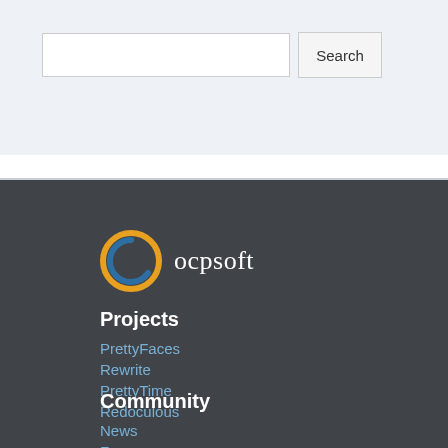[Figure (screenshot): Search bar with text input and Search button on light blue-grey background]
[Figure (logo): OCPsoft logo: stylized orange and blue letter O with 'ocpsoft' text in white serif font on dark grey background]
Projects
PrettyFaces
Rewrite
PrettyTime
Redoculous
Community
News
Forums